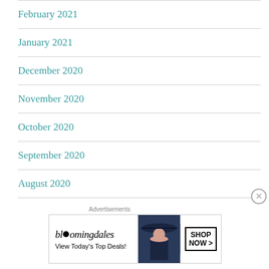February 2021
January 2021
December 2020
November 2020
October 2020
September 2020
August 2020
July 2020
[Figure (other): Bloomingdale's advertisement banner reading 'bloomingdales View Today's Top Deals!' with a woman in a wide-brim hat and a 'SHOP NOW >' button]